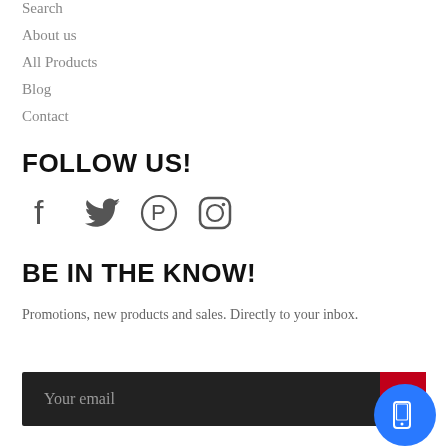Search
About us
All Products
Blog
Contact
FOLLOW US!
[Figure (infographic): Social media icons: Facebook, Twitter, Pinterest, Instagram]
BE IN THE KNOW!
Promotions, new products and sales. Directly to your inbox.
Your email